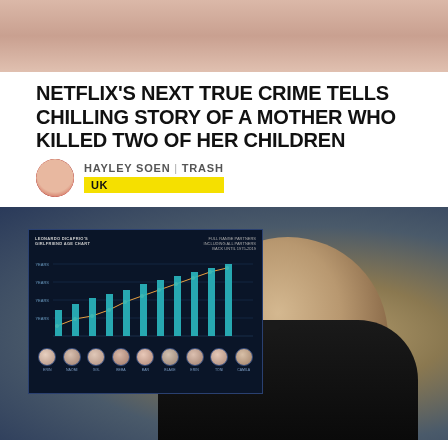[Figure (photo): Top portion of a photo showing a woman, cropped at face/shoulder level, warm tones]
NETFLIX'S NEXT TRUE CRIME TELLS CHILLING STORY OF A MOTHER WHO KILLED TWO OF HER CHILDREN
HAYLEY SOEN | TRASH
UK
[Figure (photo): Photo of Leonardo DiCaprio in a tuxedo smiling at an awards ceremony, with an overlaid dark infographic chart showing girlfriend age data]
GUYS, ACCORDING TO THIS CHART LEONARDO DICAPRIO HAS NEVER HAD A GIRLFRIEND OVER 25